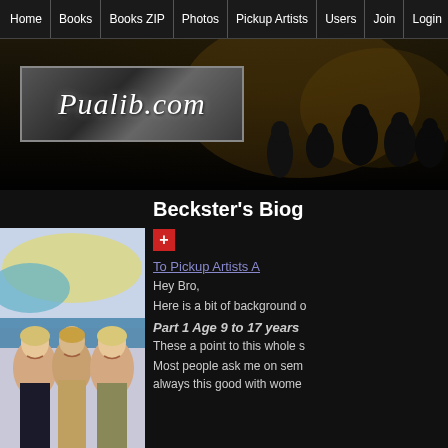Home | Books | Books ZIP | Photos | Pickup Artists | Users | Join | Login
[Figure (screenshot): Pualib.com website header banner with dark crowded background and logo box]
Beckster's Biog
[Figure (photo): Photo of a man with two blonde women smiling]
To Pickup Artists A
Hey Bro,
Here is a bit of background o
Part 1 Age 9 to 17 years
These a point to this whole s
Most people ask me on sem always this good with wome